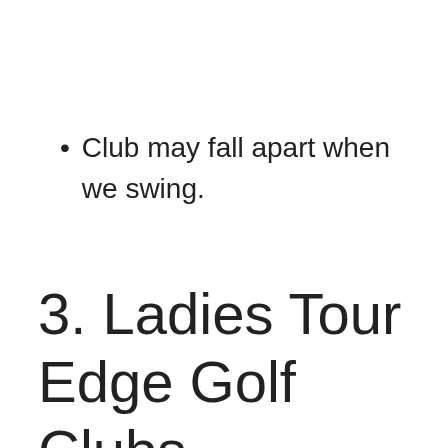Club may fall apart when we swing.
3. Ladies Tour Edge Golf Clubs Bazooka 260 Complete Set